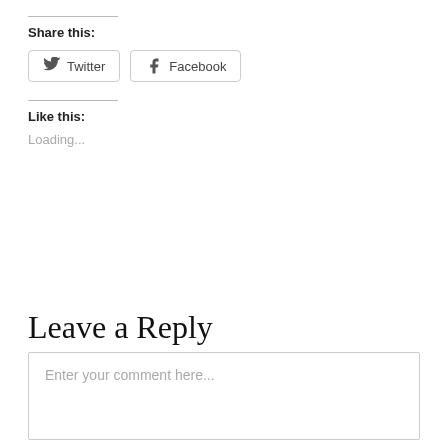Share this:
[Figure (other): Twitter and Facebook share buttons]
Like this:
Loading...
Leave a Reply
Enter your comment here...